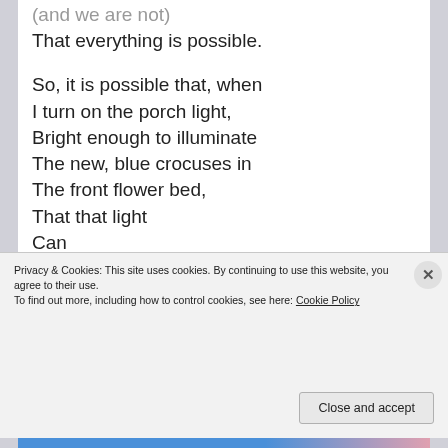(and we are not)
That everything is possible.
So, it is possible that, when
I turn on the porch light,
Bright enough to illuminate
The new, blue crocuses in
The front flower bed,
That that light
Can
Go down to the shore,
Skip across the waves,
Slide past the Lighthouse light
On Partridge Island
And whirl over the waters
Of
Privacy & Cookies: This site uses cookies. By continuing to use this website, you agree to their use.
To find out more, including how to control cookies, see here: Cookie Policy
Close and accept